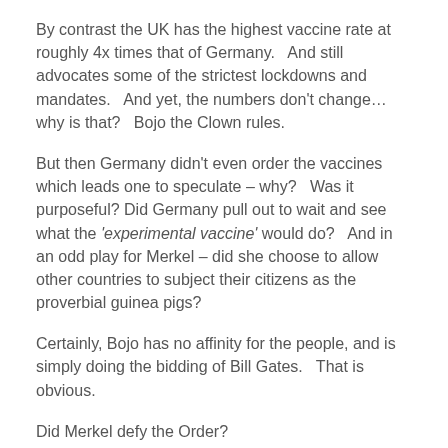By contrast the UK has the highest vaccine rate at roughly 4x times that of Germany.   And still advocates some of the strictest lockdowns and mandates.   And yet, the numbers don't change… why is that?   Bojo the Clown rules.
But then Germany didn't even order the vaccines which leads one to speculate – why?   Was it purposeful? Did Germany pull out to wait and see what the 'experimental vaccine' would do?   And in an odd play for Merkel – did she choose to allow other countries to subject their citizens as the proverbial guinea pigs?
Certainly, Bojo has no affinity for the people, and is simply doing the bidding of Bill Gates.   That is obvious.
Did Merkel defy the Order?
We live in a world of chess and checkers.
In this instance, as an outgoing leader in a matter of